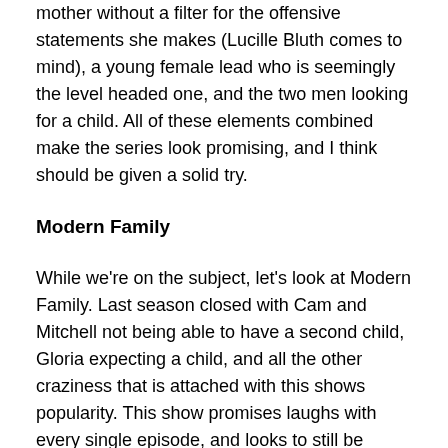mother without a filter for the offensive statements she makes (Lucille Bluth comes to mind), a young female lead who is seemingly the level headed one, and the two men looking for a child. All of these elements combined make the series look promising, and I think should be given a solid try.
Modern Family
While we're on the subject, let's look at Modern Family. Last season closed with Cam and Mitchell not being able to have a second child, Gloria expecting a child, and all the other craziness that is attached with this shows popularity. This show promises laughs with every single episode, and looks to still be going strong. What is great about this show, going into its new season, is that it still delivers. A lot of times you see a show start to fade at this point in its run